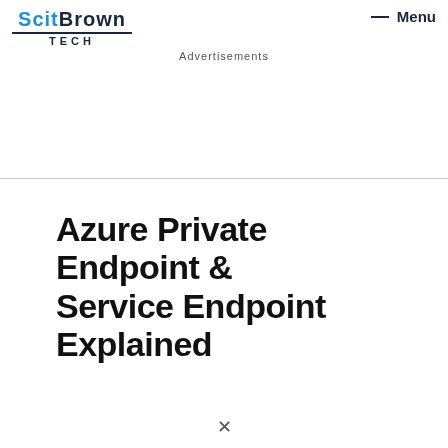ScitBrown Tech — Menu
Advertisements
Azure Private Endpoint & Service Endpoint Explained